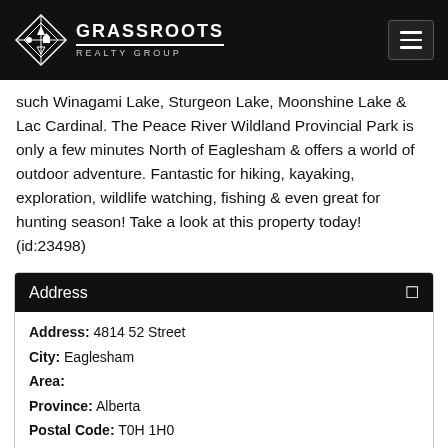Grassroots Realty Group
such Winagami Lake, Sturgeon Lake, Moonshine Lake & Lac Cardinal. The Peace River Wildland Provincial Park is only a few minutes North of Eaglesham & offers a world of outdoor adventure. Fantastic for hiking, kayaking, exploration, wildlife watching, fishing & even great for hunting season! Take a look at this property today! (id:23498)
Address
| Address: | 4814 52 Street |
| City: | Eaglesham |
| Area: |  |
| Province: | Alberta |
| Postal Code: | T0H 1H0 |
| Country: | Canada |
Details
| MLS® ID: | A1184989 |